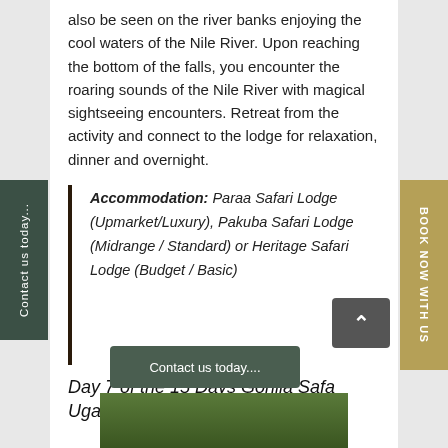also be seen on the river banks enjoying the cool waters of the Nile River. Upon reaching the bottom of the falls, you encounter the roaring sounds of the Nile River with magical sightseeing encounters. Retreat from the activity and connect to the lodge for relaxation, dinner and overnight.
Accommodation: Paraa Safari Lodge (Upmarket/Luxury), Pakuba Safari Lodge (Midrange / Standard) or Heritage Safari Lodge (Budget / Basic)
Day 7 of the 15 Days Gorilla Safari Uganda Tour: